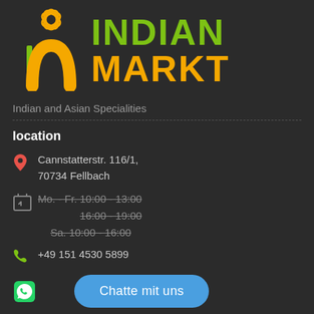[Figure (logo): Indian Markt logo with stylized M in orange and lotus flower graphic above, with INDIAN in green and MARKT in orange text]
Indian and Asian Specialities
location
Cannstatterstr. 116/1, 70734 Fellbach
Mo. - Fr. 10:00 - 13:00
16:00 - 19:00
Sa. 10:00 - 16:00
+49 151 4530 5899
Chatte mit uns
Information